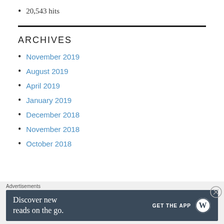20,543 hits
ARCHIVES
November 2019
August 2019
April 2019
January 2019
December 2018
November 2018
October 2018
Advertisements
Discover new reads on the go. GET THE APP